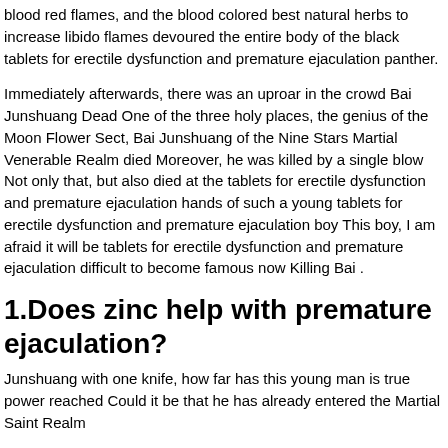blood red flames, and the blood colored best natural herbs to increase libido flames devoured the entire body of the black tablets for erectile dysfunction and premature ejaculation panther.
Immediately afterwards, there was an uproar in the crowd Bai Junshuang Dead One of the three holy places, the genius of the Moon Flower Sect, Bai Junshuang of the Nine Stars Martial Venerable Realm died Moreover, he was killed by a single blow Not only that, but also died at the tablets for erectile dysfunction and premature ejaculation hands of such a young tablets for erectile dysfunction and premature ejaculation boy This boy, I am afraid it will be tablets for erectile dysfunction and premature ejaculation difficult to become famous now Killing Bai .
1.Does zinc help with premature ejaculation?
Junshuang with one knife, how far has this young man is true power reached Could it be that he has already entered the Martial Saint Realm